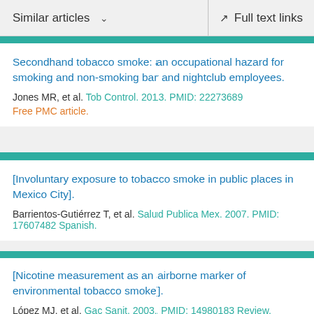Similar articles | Full text links
Secondhand tobacco smoke: an occupational hazard for smoking and non-smoking bar and nightclub employees.
Jones MR, et al. Tob Control. 2013. PMID: 22273689
Free PMC article.
[Involuntary exposure to tobacco smoke in public places in Mexico City].
Barrientos-Gutiérrez T, et al. Salud Publica Mex. 2007. PMID: 17607482 Spanish.
[Nicotine measurement as an airborne marker of environmental tobacco smoke].
López MJ, et al. Gac Sanit. 2003. PMID: 14980183 Review.